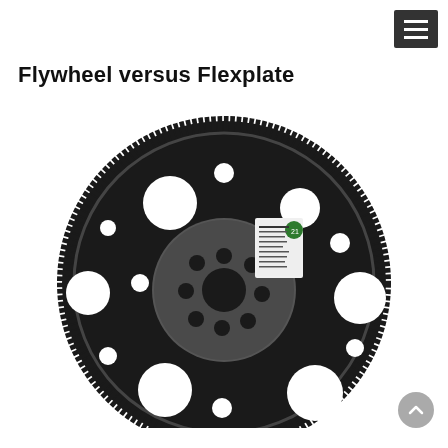☰ (hamburger menu button)
Flywheel versus Flexplate
[Figure (photo): A black automotive flexplate (ring gear / flex plate) viewed face-on. The circular disc features a ring of gear teeth around the outer circumference, a central hub with multiple bolt holes, and several large circular cutouts arranged symmetrically across the plate. A small label/sticker is visible near the upper-center area of the plate.]